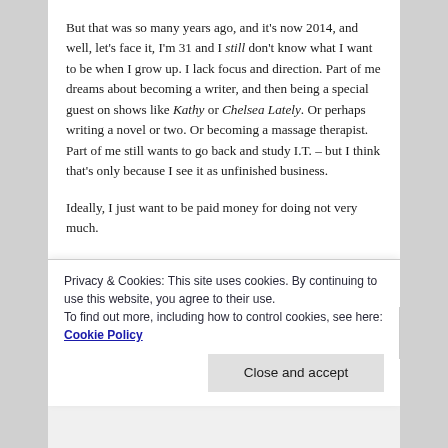But that was so many years ago, and it's now 2014, and well, let's face it, I'm 31 and I still don't know what I want to be when I grow up. I lack focus and direction. Part of me dreams about becoming a writer, and then being a special guest on shows like Kathy or Chelsea Lately. Or perhaps writing a novel or two. Or becoming a massage therapist. Part of me still wants to go back and study I.T. – but I think that's only because I see it as unfinished business.
Ideally, I just want to be paid money for doing not very much.
[faded/cut off line]
Privacy & Cookies: This site uses cookies. By continuing to use this website, you agree to their use.
To find out more, including how to control cookies, see here: Cookie Policy